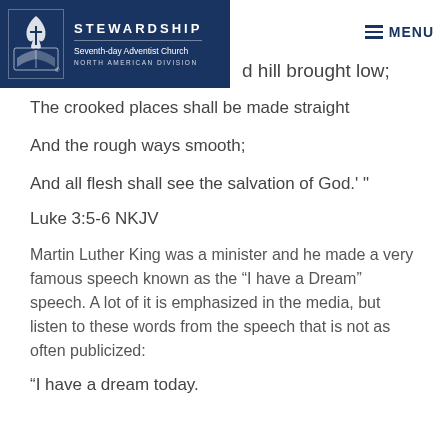[Figure (logo): Seventh-day Adventist Church North American Division Stewardship logo — white flame/book icon on dark navy background with text STEWARDSHIP, Seventh-day Adventist Church, NORTH AMERICAN DIVISION]
MENU
d hill brought low;
The crooked places shall be made straight
And the rough ways smooth;
And all flesh shall see the salvation of God.' "
Luke 3:5-6 NKJV
Martin Luther King was a minister and he made a very famous speech known as the “I have a Dream” speech. A lot of it is emphasized in the media, but listen to these words from the speech that is not as often publicized:
“I have a dream today.